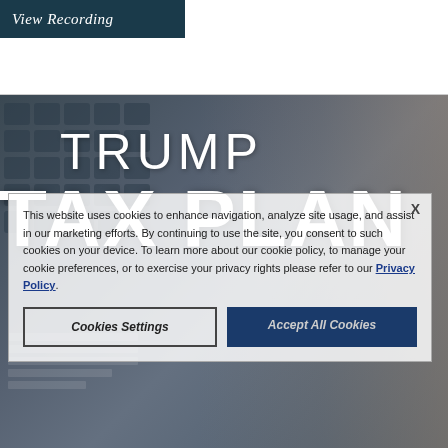View Recording
[Figure (photo): Dark blue/grey hero banner with a background showing a calculator keyboard and a person (Donald Trump) gesturing with one hand raised, with a tax form partially visible. Large white text reads 'TRUMP TAX PLAN'.]
TRUMP TAX PLAN
This website uses cookies to enhance navigation, analyze site usage, and assist in our marketing efforts. By continuing to use the site, you consent to such cookies on your device. To learn more about our cookie policy, to manage your cookie preferences, or to exercise your privacy rights please refer to our Privacy Policy.
Cookies Settings
Accept All Cookies